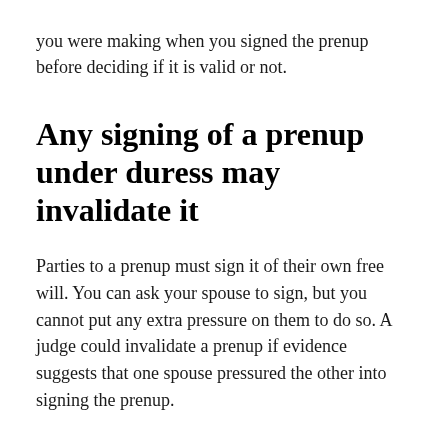you were making when you signed the prenup before deciding if it is valid or not.
Any signing of a prenup under duress may invalidate it
Parties to a prenup must sign it of their own free will. You can ask your spouse to sign, but you cannot put any extra pressure on them to do so. A judge could invalidate a prenup if evidence suggests that one spouse pressured the other into signing the prenup.